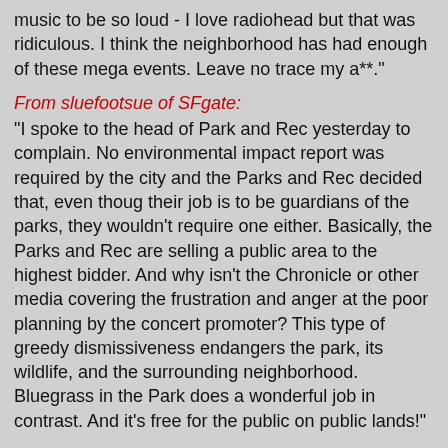music to be so loud - I love radiohead but that was ridiculous. I think the neighborhood has had enough of these mega events. Leave no trace my a**."
From sluefootsue of SFgate:
"I spoke to the head of Park and Rec yesterday to complain. No environmental impact report was required by the city and the Parks and Rec decided that, even thoug their job is to be guardians of the parks, they wouldn't require one either. Basically, the Parks and Rec are selling a public area to the highest bidder. And why isn't the Chronicle or other media covering the frustration and anger at the poor planning by the concert promoter? This type of greedy dismissiveness endangers the park, its wildlife, and the surrounding neighborhood. Bluegrass in the Park does a wonderful job in contrast. And it's free for the public on public lands!"
From inkandpaint of SFgate:
"This was a fail. Beck's stage was sloped downhill so nobody could see him. the narrow walkway back to the polo fields for radiohead was crammed and people tore down the fences. radiohead was good but the sound cut out. there were lines